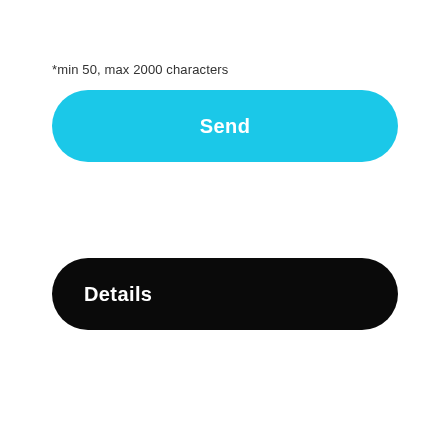*min 50, max 2000 characters
[Figure (screenshot): A cyan/light-blue pill-shaped button with white bold text 'Send' centered inside]
[Figure (screenshot): A black pill-shaped button with white bold text 'Details' left-aligned inside]